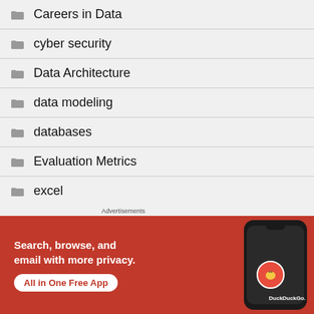Careers in Data
cyber security
Data Architecture
data modeling
databases
Evaluation Metrics
excel
Advertisements
[Figure (screenshot): DuckDuckGo advertisement banner with orange/red background showing a phone and text 'Search, browse, and email with more privacy. All in One Free App' with DuckDuckGo logo]